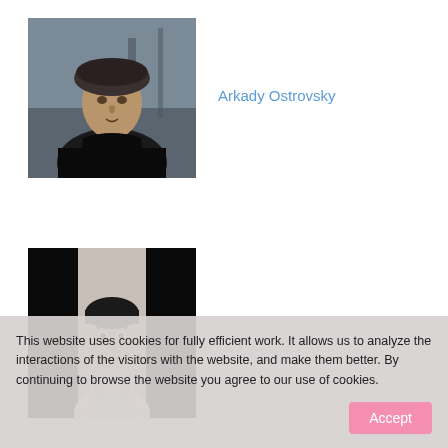[Figure (photo): Black and white portrait photograph of a man wearing a fur hat and dark coat, with a background suggesting outdoors/harbor scene. This is Arkady Ostrovsky.]
Arkady Ostrovsky
[Figure (photo): Black and white portrait photograph of a younger man in a suit, with black bars on left and right sides of the image. Partially identified as Matvei Blanter.]
Matvei Blanter
This website uses cookies for fully efficient work. It allows us to analyze the interactions of the visitors with the website, and make them better. By continuing to browse the website you agree to our use of cookies.
Accept